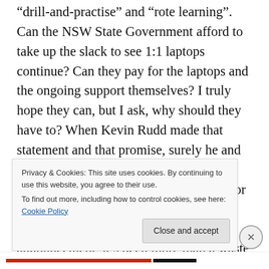“drill-and-practise” and “rote learning”. Can the NSW State Government afford to take up the slack to see 1:1 laptops continue? Can they pay for the laptops and the ongoing support themselves? I truly hope they can, but I ask, why should they have to? When Kevin Rudd made that statement and that promise, surely he and his Education Minister and government knew that this had to be a commitment for the long-term. Otherwise, what was the point? Federally, with the budget announcement, it’s been more than a waste of money. It’s been one big education-
Privacy & Cookies: This site uses cookies. By continuing to use this website, you agree to their use.
To find out more, including how to control cookies, see here: Cookie Policy
Close and accept